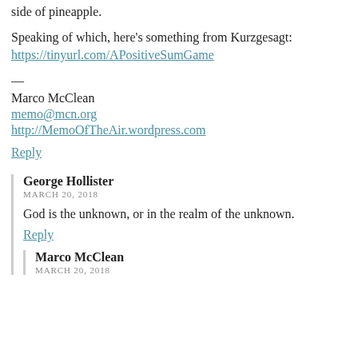side of pineapple.
Speaking of which, here's something from Kurzgesagt:
https://tinyurl.com/APositiveSumGame
—
Marco McClean
memo@mcn.org
http://MemoOfTheAir.wordpress.com
Reply
George Hollister
MARCH 20, 2018

God is the unknown, or in the realm of the unknown.

Reply
Marco McClean
MARCH 20, 2018